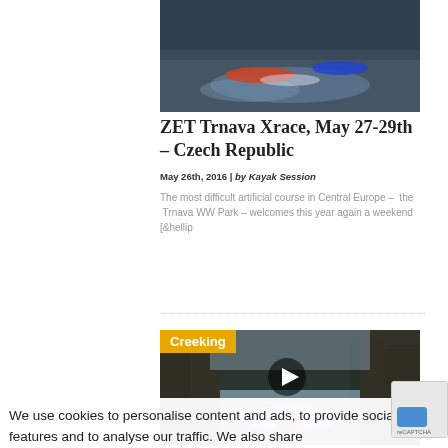[Figure (photo): Kayakers on whitewater rapids, close-up action shot]
ZET Trnava Xrace, May 27-29th – Czech Republic
May 26th, 2016 | by Kayak Session
The most difficult artificial course in Central Europe – the  Trnava WW Park – welcomes this year again a weekend [&hellip
[Figure (screenshot): Creeking video thumbnail with play button overlay, showing a kayaker on a dramatic narrow river gorge with tall pine trees]
We use cookies to personalise content and ads, to provide social media features and to analyse our traffic. We also share